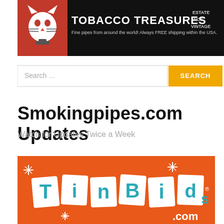[Figure (logo): Tobacco Treasures banner ad with red cat logo, text 'TOBACCO TREASURES Fine pipes from around the world! Always FREE shipping within the USA.' and ESTATE NOS VINTAGE labels]
[Figure (screenshot): Search input box with placeholder 'Search ...' and orange SEARCH button]
Smokingpipes.com Updates
Watch for Updates Twice a Week
[Figure (logo): TinBids.com logo on orange background with teal lettering and star decorations]